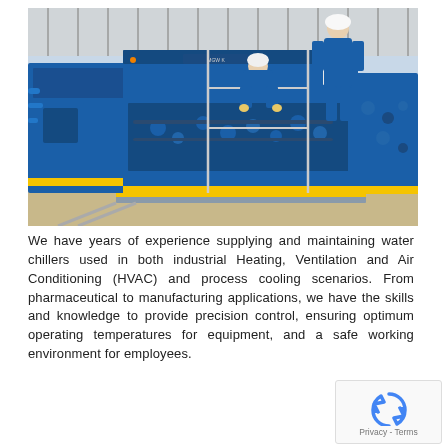[Figure (photo): Workers in blue coveralls and hard hats working on large blue industrial machinery/water chiller equipment outdoors on a platform with metal railings, sunny day]
We have years of experience supplying and maintaining water chillers used in both industrial Heating, Ventilation and Air Conditioning (HVAC) and process cooling scenarios. From pharmaceutical to manufacturing applications, we have the skills and knowledge to provide precision control, ensuring optimum operating temperatures for equipment, and a safe working environment for employees.